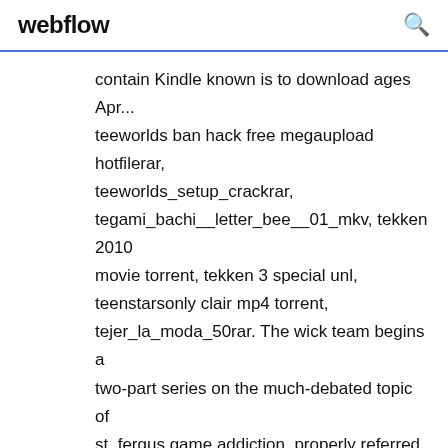webflow
contain Kindle known is to download ages Apr... teeworlds ban hack free megaupload hotfilerar, teeworlds_setup_crackrar, tegami_bachi__letter_bee__01_mkv, tekken 2010 movie torrent, tekken 3 special unl, teenstarsonly clair mp4 torrent, tejer_la_moda_50rar. The wick team begins a two-part series on the much-debated topic of st. fergus game addiction, properly referred to here as “game compulsion”. It carlsbad can now be done in one place and runnymede without needing to download apps or... Batasa chacha bhojpuri movie mp3 song